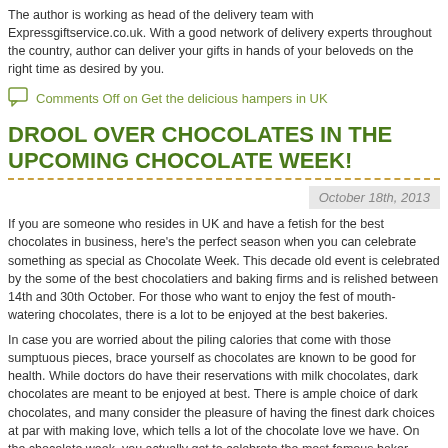The author is working as head of the delivery team with Expressgiftservice.co.uk. With a good network of delivery experts throughout the country, author can deliver your gifts in hands of your beloveds on the right time as desired by you.
Comments Off on Get the delicious hampers in UK
DROOL OVER CHOCOLATES IN THE UPCOMING CHOCOLATE WEEK!
October 18th, 2013
If you are someone who resides in UK and have a fetish for the best chocolates in business, here's the perfect season when you can celebrate something as special as Chocolate Week. This decade old event is celebrated by the some of the best chocolatiers and baking firms and is relished between 14th and 30th October. For those who want to enjoy the fest of mouth-watering chocolates, there is a lot to be enjoyed at the best bakeries.
In case you are worried about the piling calories that come with those sumptuous pieces, brace yourself as chocolates are known to be good for health. While doctors do have their reservations with milk chocolates, dark chocolates are meant to be enjoyed at best. There is ample choice of dark chocolates, and many consider the pleasure of having the finest dark choices at par with making love, which tells a lot of the chocolate love we have. On the chocolate week, you actually get to celebrate the most famous baker items.
Are you keeping busy and don't have the time to get someone along? This shouldn't dampen the spirits as many of the online selling portals are now bringing some assorted chocolate collections meant for this special week. You can choose to celebrate the week by sending the loved ones their favourites. Celebrated all over UK, this week ensures that you give your diet a skip and make the